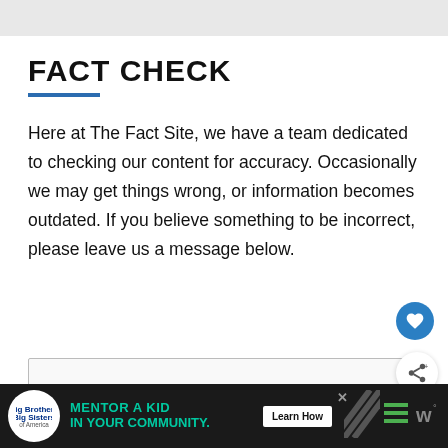FACT CHECK
Here at The Fact Site, we have a team dedicated to checking our content for accuracy. Occasionally we may get things wrong, or information becomes outdated. If you believe something to be incorrect, please leave us a message below.
[Figure (screenshot): Advertisement banner at bottom: Big Brothers Big Sisters logo, 'MENTOR A KID IN YOUR COMMUNITY.' text in teal, 'Learn How' button, diagonal stripe graphic, hamburger menu icon, and weather widget icon.]